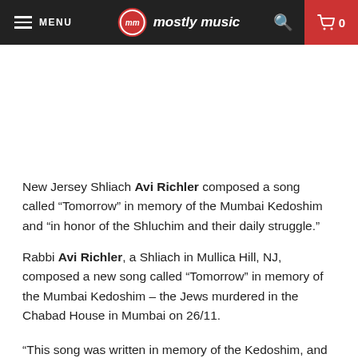MENU | mostly music | 0
New Jersey Shliach Avi Richler composed a song called “Tomorrow” in memory of the Mumbai Kedoshim and “in honor of the Shluchim and their daily struggle.”
Rabbi Avi Richler, a Shliach in Mullica Hill, NJ, composed a new song called “Tomorrow” in memory of the Mumbai Kedoshim – the Jews murdered in the Chabad House in Mumbai on 26/11.
“This song was written in memory of the Kedoshim, and in